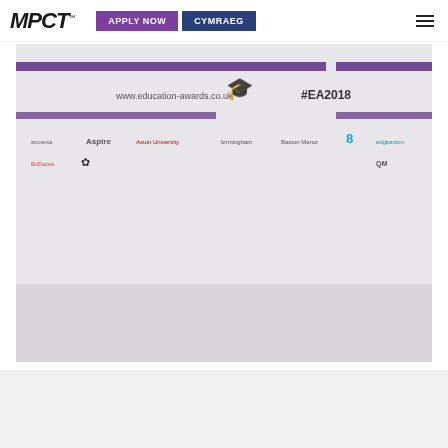MPCT | APPLY NOW | CYMRAEG
[Figure (photo): Four people posing in front of an Education Awards 2018 (#EA2018) backdrop showing sponsor logos including Aspire, Aston University, edgbaston, UFA, QM Group and others. They are holding a '#Finalist #EA2018' sign. One woman in a dark evening gown and three men in suits.]